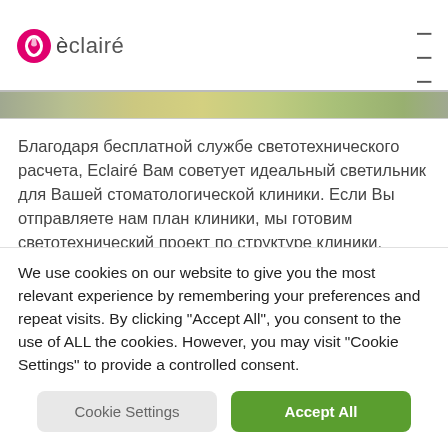èclairé
[Figure (photo): Horizontal image strip showing a room/lighting scene, partially visible at top]
Благодаря бесплатной службе светотехнического расчета, Eclairé Вам советует идеальный светильник для Вашей стоматологической клиники. Если Вы отправляете нам план клиники, мы готовим светотехнический проект по структуре клиники,
We use cookies on our website to give you the most relevant experience by remembering your preferences and repeat visits. By clicking "Accept All", you consent to the use of ALL the cookies. However, you may visit "Cookie Settings" to provide a controlled consent.